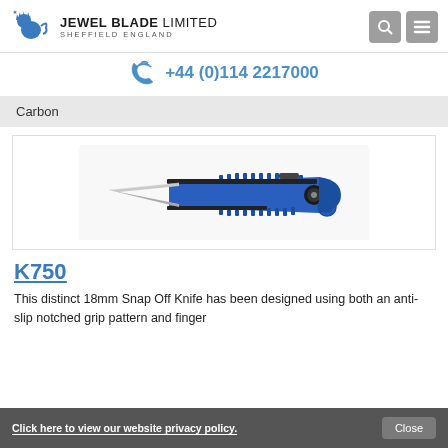JEWEL BLADE LIMITED SHEFFIELD ENGLAND +44 (0)114 2217000
Carbon
[Figure (photo): Blue 18mm snap-off utility knife with anti-slip notched grip pattern, black accents, and a silver blade partially extended.]
K750
This distinct 18mm Snap Off Knife has been designed using both an anti-slip notched grip pattern and finger
Click here to view our website privacy policy.  Close